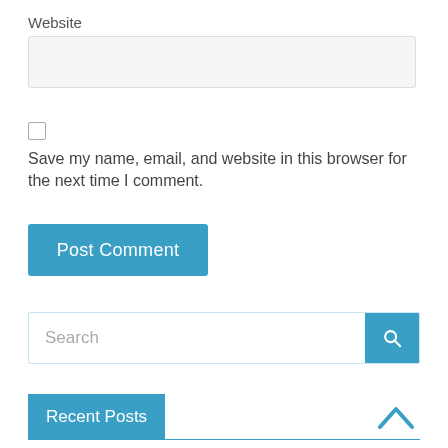Website
[Figure (screenshot): Empty website input text field]
[Figure (screenshot): Unchecked checkbox]
Save my name, email, and website in this browser for the next time I comment.
[Figure (screenshot): Post Comment button (blue)]
[Figure (screenshot): Search input field with blue search button]
Recent Posts